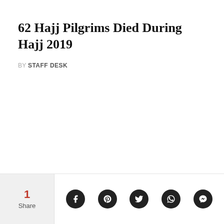62 Hajj Pilgrims Died During Hajj 2019
BY STAFF DESK
1 Share | Facebook | Pinterest | Twitter | WhatsApp | Messenger